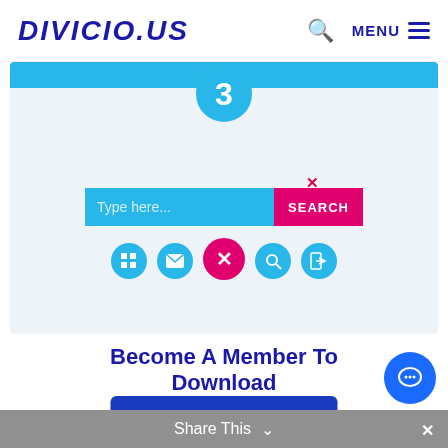DIVICIO.US  🔍  MENU ☰
[Figure (screenshot): Screenshot of a website UI showing a step circle with number 3 over a light blue background, a search bar with 'Type here...' placeholder and a pink SEARCH button, and a row of circular icon buttons including a grid, envelope, pink X, search, and login icon.]
Become A Member To Download
JOIN NOW
Share This ∨